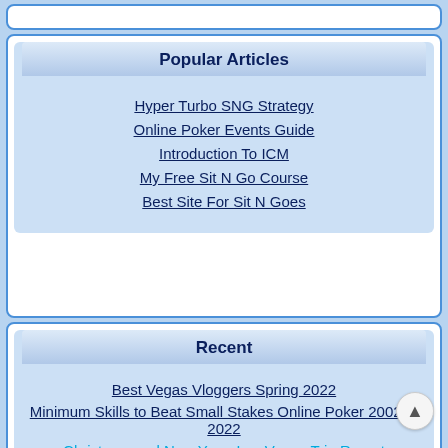Popular Articles
Hyper Turbo SNG Strategy
Online Poker Events Guide
Introduction To ICM
My Free Sit N Go Course
Best Site For Sit N Goes
Recent
Best Vegas Vloggers Spring 2022
Minimum Skills to Beat Small Stakes Online Poker 2002 to 2022
Christmas and New Year: Las Vegas Trip Report
WSOP Inflation and Online Poker